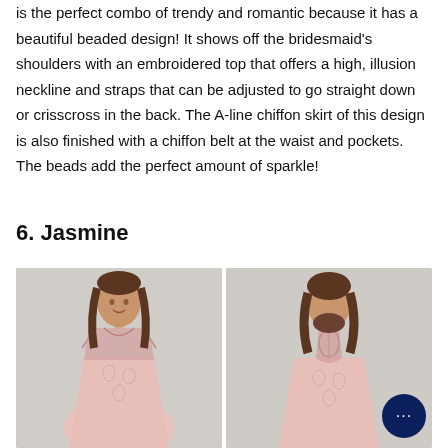is the perfect combo of trendy and romantic because it has a beautiful beaded design! It shows off the bridesmaid's shoulders with an embroidered top that offers a high, illusion neckline and straps that can be adjusted to go straight down or crisscross in the back. The A-line chiffon skirt of this design is also finished with a chiffon belt at the waist and pockets. The beads add the perfect amount of sparkle!
6. Jasmine
[Figure (photo): Two side-by-side photos of a woman wearing a pink bridesmaid dress. Left photo shows the front view with a smiling woman with long brown hair wearing a blush pink lace/embroidered dress with illusion neckline. Right photo shows the back view of the same dress showing the racerback lace detail. A dark navy chat button is visible in the bottom right corner.]